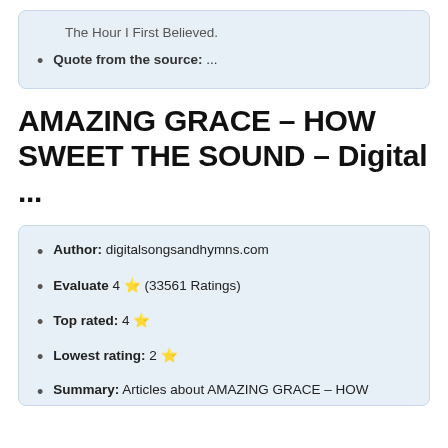The Hour I First Believed.
Quote from the source: ...
AMAZING GRACE – HOW SWEET THE SOUND – Digital ...
Author: digitalsongsandhymns.com
Evaluate 4 ⭐ (33561 Ratings)
Top rated: 4 ⭐
Lowest rating: 2 ⭐
Summary: Articles about AMAZING GRACE – HOW